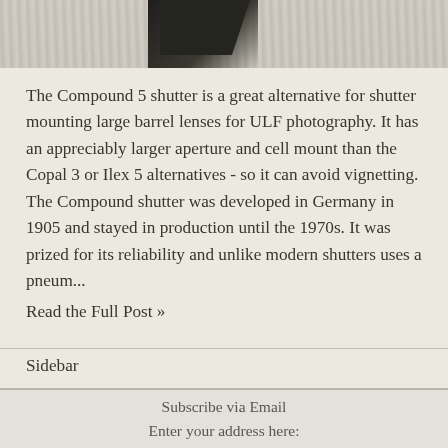[Figure (photo): Top portion of page showing a textured woven fabric/rug background with a dark object (possibly a camera or device) partially visible in the upper left corner.]
The Compound 5 shutter is a great alternative for shutter mounting large barrel lenses for ULF photography. It has an appreciably larger aperture and cell mount than the Copal 3 or Ilex 5 alternatives - so it can avoid vignetting. The Compound shutter was developed in Germany in 1905 and stayed in production until the 1970s. It was prized for its reliability and unlike modern shutters uses a pneum...
Read the Full Post »
Sidebar
Subscribe via Email
Enter your address here: